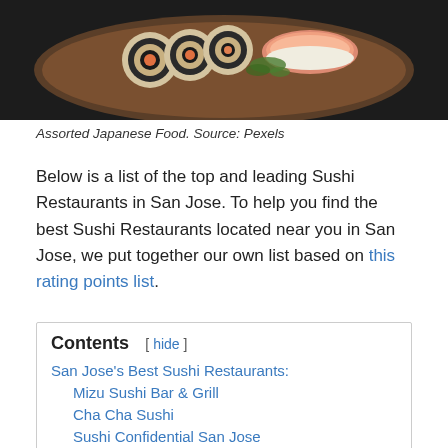[Figure (photo): Photo of assorted Japanese food including sushi rolls on a dark wooden plate against a dark background]
Assorted Japanese Food. Source: Pexels
Below is a list of the top and leading Sushi Restaurants in San Jose. To help you find the best Sushi Restaurants located near you in San Jose, we put together our own list based on this rating points list.
San Jose's Best Sushi Restaurants:
Mizu Sushi Bar & Grill
Cha Cha Sushi
Sushi Confidential San Jose
Seven Seas Sushi
Kazoo Japanese Restaurant